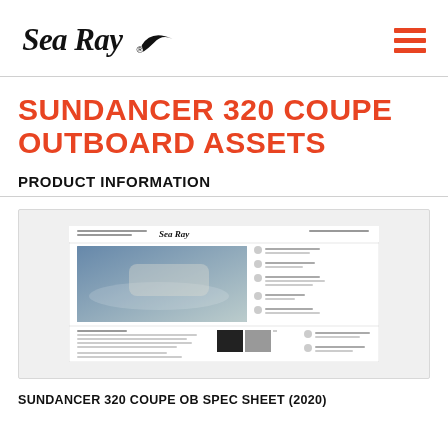Sea Ray logo and navigation menu
SUNDANCER 320 COUPE OUTBOARD ASSETS
PRODUCT INFORMATION
[Figure (screenshot): Thumbnail preview of the Sundancer 320 Coupe OB spec sheet showing a boat image, specifications, color swatches, and Sea Ray logo]
SUNDANCER 320 COUPE OB SPEC SHEET (2020)